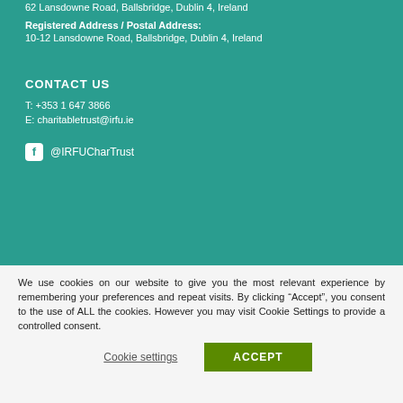62 Lansdowne Road, Ballsbridge, Dublin 4, Ireland
Registered Address / Postal Address:
10-12 Lansdowne Road, Ballsbridge, Dublin 4, Ireland
CONTACT US
T: +353 1 647 3866
E: charitabletrust@irfu.ie
@IRFUCharTrust
We use cookies on our website to give you the most relevant experience by remembering your preferences and repeat visits. By clicking “Accept”, you consent to the use of ALL the cookies. However you may visit Cookie Settings to provide a controlled consent.
Cookie settings
ACCEPT